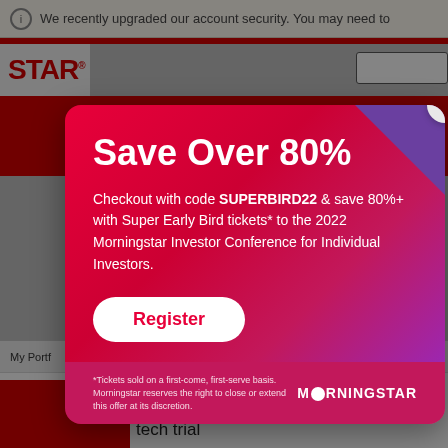We recently upgraded our account security. You may need to
[Figure (screenshot): Morningstar website screenshot showing STAR logo in red, navigation bar, and background red banner section]
Save Over 80%
Checkout with code SUPERBIRD22 & save 80%+ with Super Early Bird tickets* to the 2022 Morningstar Investor Conference for Individual Investors.
Register
*Tickets sold on a first-come, first-serve basis. Morningstar reserves the right to close or extend this offer at its discretion.
News
Cochlear shrugs off slump with new tech trial